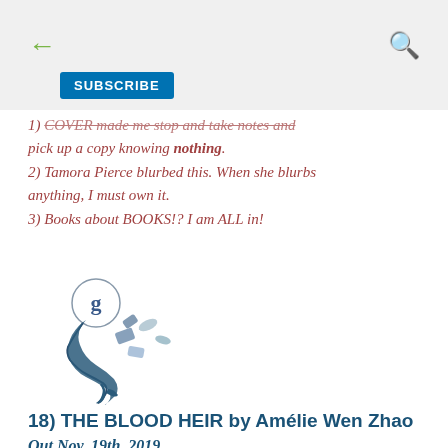SUBSCRIBE
1) [cut off] made me stop and take notes and pick up a copy knowing nothing.
2) Tamora Pierce blurbed this. When she blurbs anything, I must own it.
3) Books about BOOKS!? I am ALL in!
[Figure (logo): Goodreads mermaid logo — a stylized mermaid holding a 'g' balloon swimming with small fish]
18) THE BLOOD HEIR by Amélie Wen Zhao
Out Nov. 19th, 2019
[Figure (photo): Partial book cover image at bottom of page, showing a figure with dark hair]